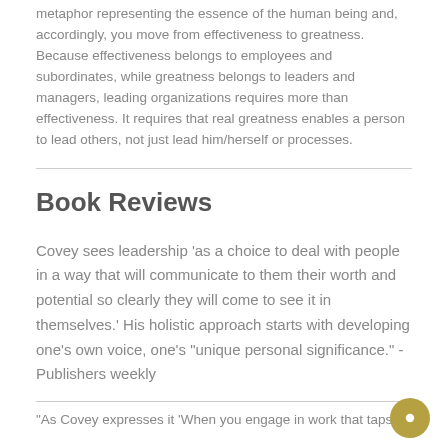metaphor representing the essence of the human being and, accordingly, you move from effectiveness to greatness. Because effectiveness belongs to employees and subordinates, while greatness belongs to leaders and managers, leading organizations requires more than effectiveness. It requires that real greatness enables a person to lead others, not just lead him/herself or processes.
Book Reviews
Covey sees leadership 'as a choice to deal with people in a way that will communicate to them their worth and potential so clearly they will come to see it in themselves.' His holistic approach starts with developing one's own voice, one's "unique personal significance." - Publishers weekly
"As Covey expresses it 'When you engage in work that taps